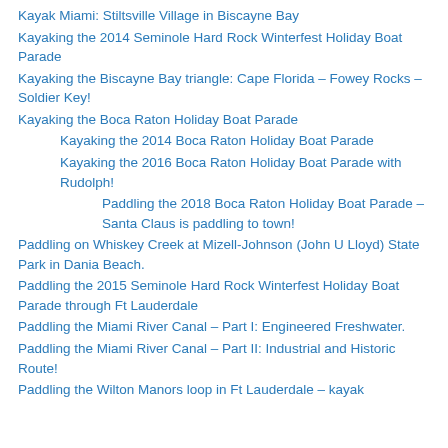Kayak Miami: Stiltsville Village in Biscayne Bay
Kayaking the 2014 Seminole Hard Rock Winterfest Holiday Boat Parade
Kayaking the Biscayne Bay triangle: Cape Florida – Fowey Rocks – Soldier Key!
Kayaking the Boca Raton Holiday Boat Parade
Kayaking the 2014 Boca Raton Holiday Boat Parade
Kayaking the 2016 Boca Raton Holiday Boat Parade with Rudolph!
Paddling the 2018 Boca Raton Holiday Boat Parade – Santa Claus is paddling to town!
Paddling on Whiskey Creek at Mizell-Johnson (John U Lloyd) State Park in Dania Beach.
Paddling the 2015 Seminole Hard Rock Winterfest Holiday Boat Parade through Ft Lauderdale
Paddling the Miami River Canal – Part I: Engineered Freshwater.
Paddling the Miami River Canal – Part II: Industrial and Historic Route!
Paddling the Wilton Manors loop in Ft Lauderdale – kayak